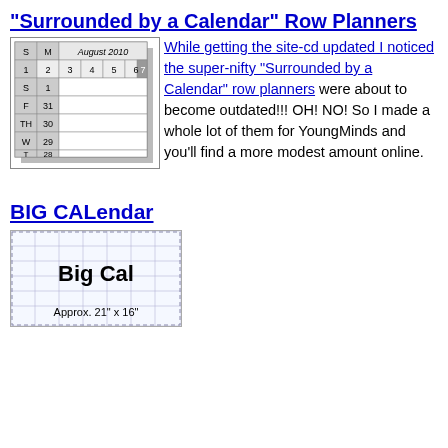"Surrounded by a Calendar" Row Planners
[Figure (illustration): A calendar row planner image showing August 2010 with rows for S, M, dates 2-7, and rows below for S/1, F/31, TH/30, W/29, with vertical columns forming a planner grid.]
While getting the site-cd updated I noticed the super-nifty "Surrounded by a Calendar" row planners were about to become outdated!!! OH! NO! So I made a whole lot of them for YoungMinds and you'll find a more modest amount online.
BIG CALendar
[Figure (illustration): A large calendar image labeled 'Big Cal' with text 'Approx. 21" x 16"' shown below it, displayed on a grid background.]